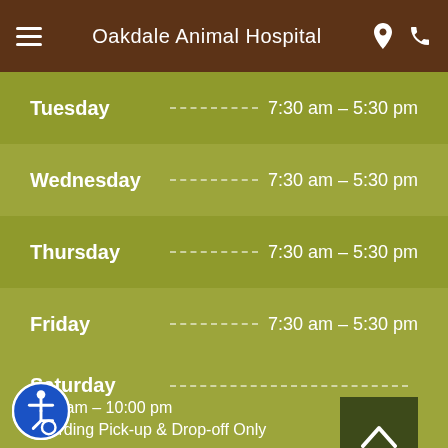Oakdale Animal Hospital
Tuesday  7:30 am - 5:30 pm
Wednesday  7:30 am - 5:30 pm
Thursday  7:30 am - 5:30 pm
Friday  7:30 am - 5:30 pm
Saturday  8:00 am - 10:00 pm  Boarding Pick-up & Drop-off Only
Sunday  4:00 pm - 5:00 pm  Boarding Only